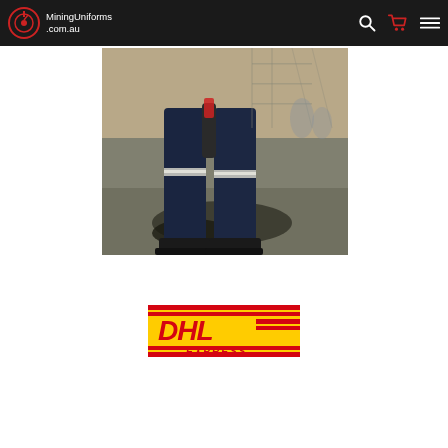MiningUniforms.com.au navigation bar
[Figure (photo): Lower body of a worker wearing navy blue work trousers with reflective tape stripe, holding a tool, standing on a dirty concrete/asphalt surface at an industrial/mining site]
[Figure (logo): DHL EXPRESS logo — red bold DHL text with yellow background and red/yellow horizontal stripes, EXPRESS text below]